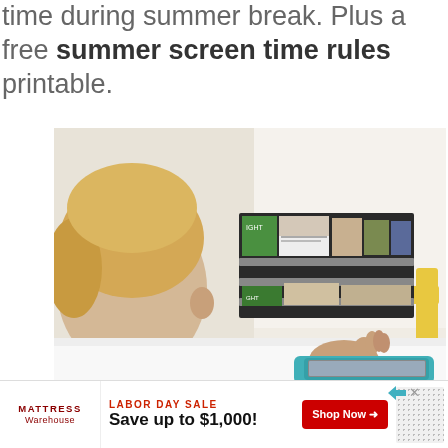time during summer break. Plus a free summer screen time rules printable.
[Figure (photo): A young blond child viewed from behind, looking at books in a wall-mounted black book rack/shelf. The child is holding a teal tablet/iPad with a chunky protective case. Light, bright room with white walls and a yellow chair visible in background.]
LABOR DAY SALE Save up to $1,000!